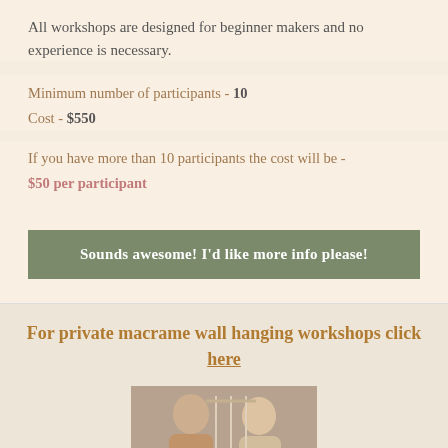All workshops are designed for beginner makers and no experience is necessary.
Minimum number of participants - 10
Cost - $550
If you have more than 10 participants the cost will be -
$50 per participant
Sounds awesome! I'd like more info please!
For private macrame wall hanging workshops click here
[Figure (photo): Two people at a macrame wall hanging workshop, smiling at each other]